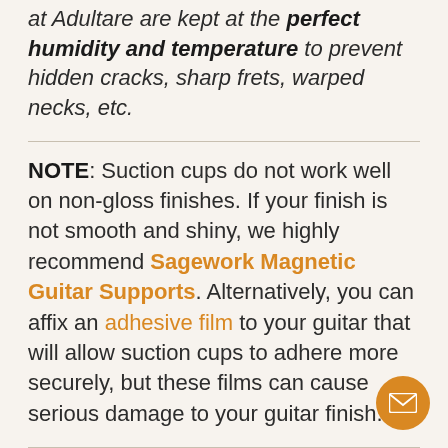at Adultare are kept at the perfect humidity and temperature to prevent hidden cracks, sharp frets, warped necks, etc.
NOTE: Suction cups do not work well on non-gloss finishes. If your finish is not smooth and shiny, we highly recommend Sagework Magnetic Guitar Supports. Alternatively, you can affix an adhesive film to your guitar that will allow suction cups to adhere more securely, but these films can cause serious damage to your guitar finish.
THE HEALTHY CHOICE: Forget about back and muscle aches caused by long practicing sessions! Tenor's TPGS+ Guitar Support